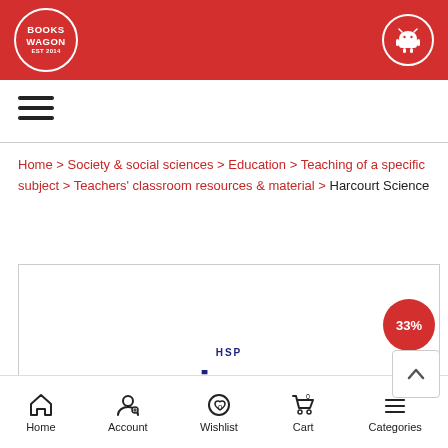[Figure (logo): Books Wagon logo in white circle on red header background]
[Figure (logo): Android robot icon in white circle on red header background]
[Figure (other): Hamburger menu icon (three horizontal bars)]
Home > Society & social sciences > Education > Teaching of a specific subject > Teachers' classroom resources & material > Harcourt Science
[Figure (photo): Product image area showing HSP Science logo, with a 33% discount badge in red circle]
[Figure (other): Back to top button with upward chevron]
Home   Account   Wishlist   Cart   Categories